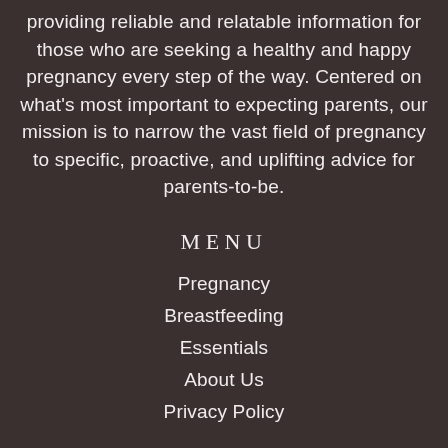providing reliable and relatable information for those who are seeking a healthy and happy pregnancy every step of the way. Centered on what's most important to expecting parents, our mission is to narrow the vast field of pregnancy to specific, proactive, and uplifting advice for parents-to-be.
MENU
Pregnancy
Breastfeeding
Essentials
About Us
Privacy Policy